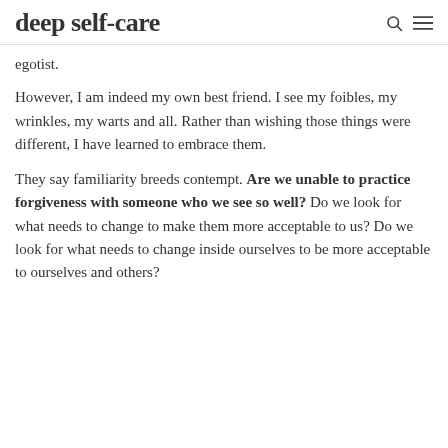deep self-care
egotist.
However, I am indeed my own best friend. I see my foibles, my wrinkles, my warts and all. Rather than wishing those things were different, I have learned to embrace them.
They say familiarity breeds contempt. Are we unable to practice forgiveness with someone who we see so well? Do we look for what needs to change to make them more acceptable to us? Do we look for what needs to change inside ourselves to be more acceptable to ourselves and others?